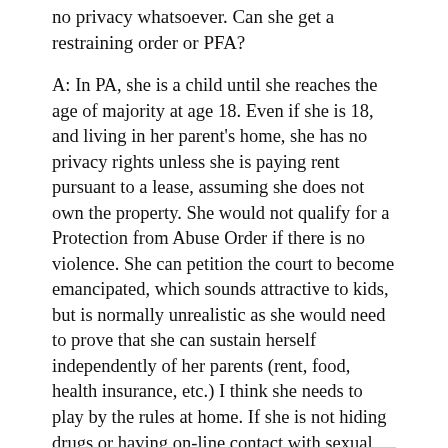no privacy whatsoever. Can she get a restraining order or PFA?
A: In PA, she is a child until she reaches the age of majority at age 18. Even if she is 18, and living in her parent's home, she has no privacy rights unless she is paying rent pursuant to a lease, assuming she does not own the property. She would not qualify for a Protection from Abuse Order if there is no violence. She can petition the court to become emancipated, which sounds attractive to kids, but is normally unrealistic as she would need to prove that she can sustain herself independently of her parents (rent, food, health insurance, etc.) I think she needs to play by the rules at home. If she is not hiding drugs or having on-line contact with sexual predators, she should have no problem.
This entry was posted in Blog and FAQ, Juvenile Law and tagged ADULT, AGE OF MAJORITY, JUVENILE LAW, PRIVACY on April 23, 2017.